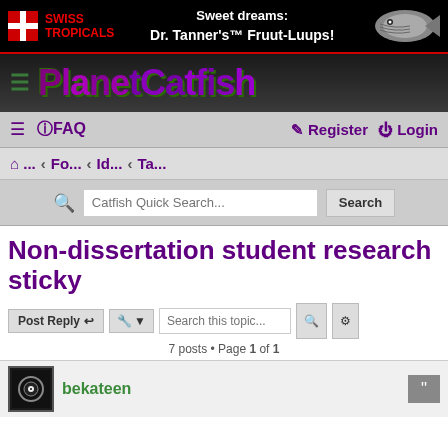[Figure (screenshot): Swiss Tropicals advertisement banner with logo, tagline 'Sweet dreams: Dr. Tanner's Fruut-Luups!' and fish image]
[Figure (logo): PlanetCatfish site logo with hamburger menu icon on dark gradient background]
≡ ⓘFAQ   ✎ Register ⏻ Login
⌂ ... ‹ Fo... ‹ Id... ‹ Ta...
Catfish Quick Search... Search
Non-dissertation student research sticky
Post Reply  🔧 ▼  Search this topic...  🔍  ⚙
7 posts • Page 1 of 1
bekateen